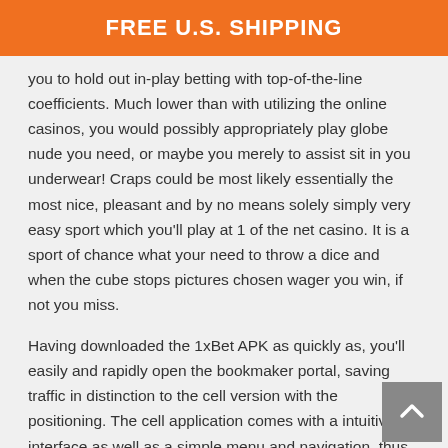FREE U.S. SHIPPING
you to hold out in-play betting with top-of-the-line coefficients. Much lower than with utilizing the online casinos, you would possibly appropriately play globe nude you need, or maybe you merely to assist sit in you underwear! Craps could be most likely essentially the most nice, pleasant and by no means solely simply very easy sport which you'll play at 1 of the net casino. It is a sport of chance what your need to throw a dice and when the cube stops pictures chosen wager you win, if not you miss.
Having downloaded the 1xBet APK as quickly as, you'll easily and rapidly open the bookmaker portal, saving traffic in distinction to the cell version with the positioning. The cell application comes with a intuitive interface as well as a simple menu and navigation, thus it's extra convenient to work with it. If you could have already registered using your computer, then you don't want to take action once once more on the mobile. This will open your profile, where